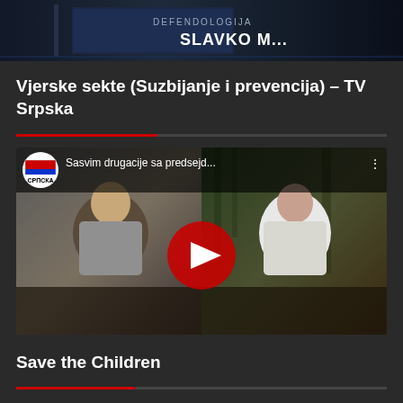[Figure (screenshot): Top banner image showing a book cover with text 'SLAVKO M...' and 'DEFENDOLOGIJA' partially visible on a dark background]
Vjerske sekte (Suzbijanje i prevencija) – TV Srpska
[Figure (screenshot): YouTube embedded video thumbnail showing two people in an outdoor interview setting. TV Srpska channel logo (circular with Cyrillic text СРПСКА) is visible in top left. Video title reads 'Sasvim drugacije sa predsejd...' with a red YouTube play button in the center.]
Save the Children